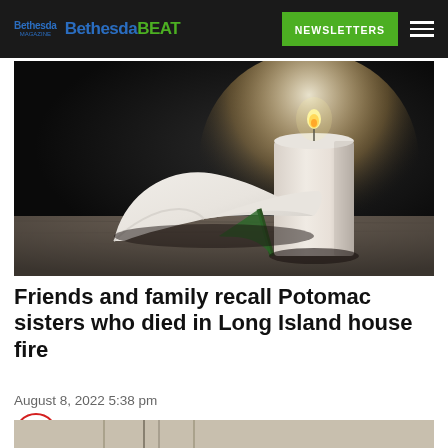Bethesda Bethesda BEAT — NEWSLETTERS
[Figure (photo): A white calla lily and a lit white pillar candle on a dark wooden surface against a very dark background — a memorial/obituary stock photo.]
Friends and family recall Potomac sisters who died in Long Island house fire
August 8, 2022 5:38 pm
[Figure (photo): Partial bottom image visible at the very bottom of the page — a light-colored scene, partially cut off.]